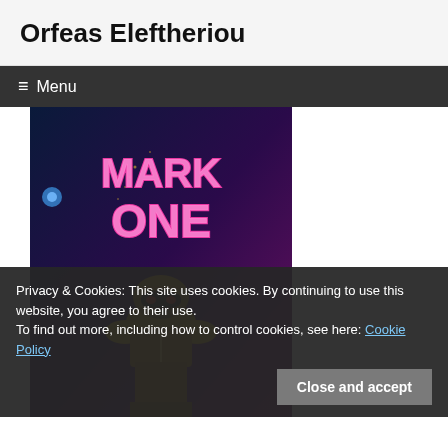Orfeas Eleftheriou
≡  Menu
[Figure (illustration): Book or game cover image showing 'MARK ONE' in pink neon-style text on a dark blue/purple background, with a yellow and black robotic or armored figure in the lower portion.]
Privacy & Cookies: This site uses cookies. By continuing to use this website, you agree to their use.
To find out more, including how to control cookies, see here: Cookie Policy
Close and accept